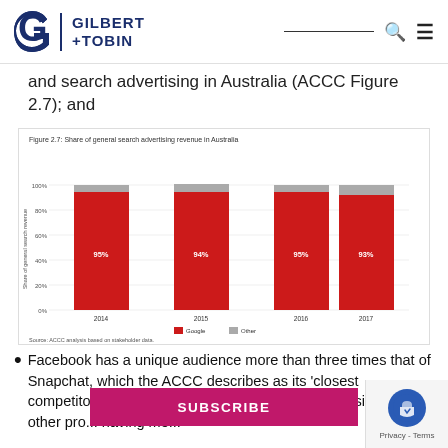GILBERT+TOBIN
and search advertising in Australia (ACCC Figure 2.7); and
[Figure (stacked-bar-chart): Figure 2.7: Share of general search advertising revenue in Australia]
Facebook has a unique audience more than three times that of Snapchat, which the ACCC describes as its 'closest competitor', and a 46% share digital display advertising with no other pro... having me...